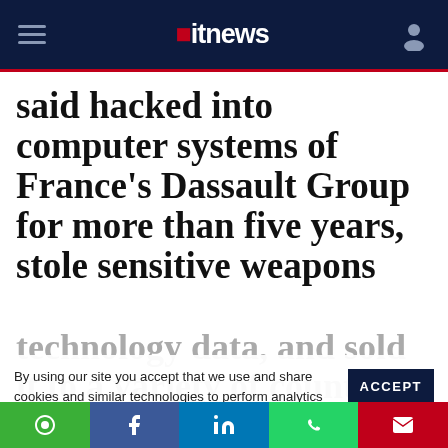itnews
said hacked into computer systems of France's Dassault Group for more than five years, stole sensitive weapons
technology data, and sold it to a variety of countries
By using our site you accept that we use and share cookies and similar technologies to perform analytics and provide content and ads tailored to your interests. By continuing to use our site, you consent to this. Please see our Cookie Policy for more information.